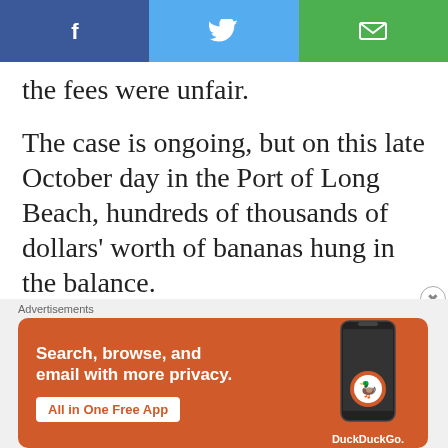[Figure (other): Social sharing bar with Facebook (blue), Twitter (light blue), and Email (green) buttons with white icons]
the fees were unfair.
The case is ongoing, but on this late October day in the Port of Long Beach, hundreds of thousands of dollars' worth of bananas hung in the balance.
For more than a year, retailers and
Advertisements
[Figure (screenshot): DuckDuckGo advertisement banner: orange background, text 'Search, browse, and email with more privacy. All in One Free App', with phone image and DuckDuckGo logo]